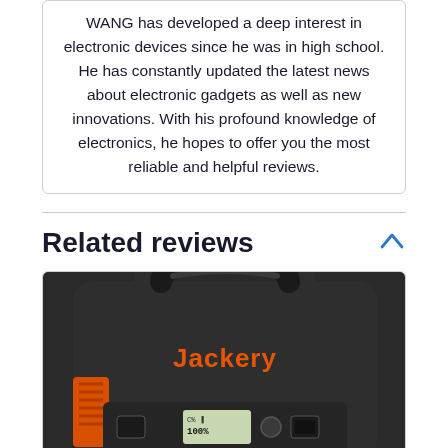WANG has developed a deep interest in electronic devices since he was in high school. He has constantly updated the latest news about electronic gadgets as well as new innovations. With his profound knowledge of electronics, he hopes to offer you the most reliable and helpful reviews.
Related reviews
[Figure (photo): Photo of a Jackery portable power station device, black with orange branding, showing handle, front panel with display and ports, cropped at bottom.]